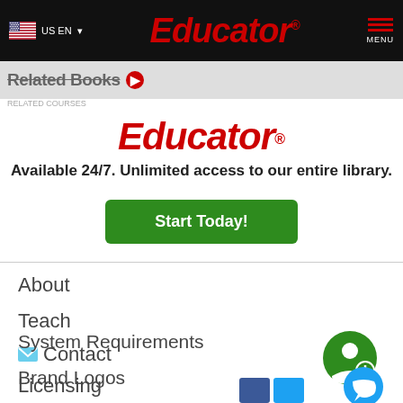Educator — US EN navigation bar
Related Books
Educator
Available 24/7. Unlimited access to our entire library.
Start Today!
About
Teach
Contact
Licensing
FAQ
System Requirements
Brand Logos